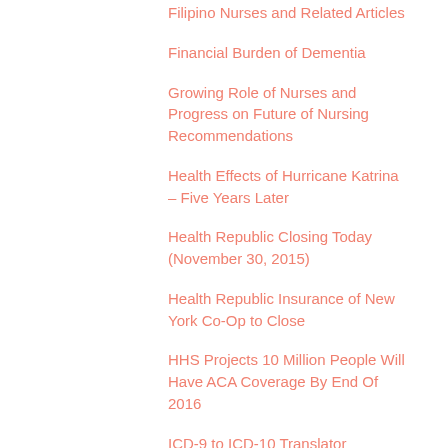Filipino Nurses and Related Articles
Financial Burden of Dementia
Growing Role of Nurses and Progress on Future of Nursing Recommendations
Health Effects of Hurricane Katrina – Five Years Later
Health Republic Closing Today (November 30, 2015)
Health Republic Insurance of New York Co-Op to Close
HHS Projects 10 Million People Will Have ACA Coverage By End Of 2016
ICD-9 to ICD-10 Translator
Implantable Device Can Be Remotely Controlled to Deliver Drugs
Increasing Trend In Graduating Nurses
Legionnaires' Outbreak in South Bronx Claims 8 Lives